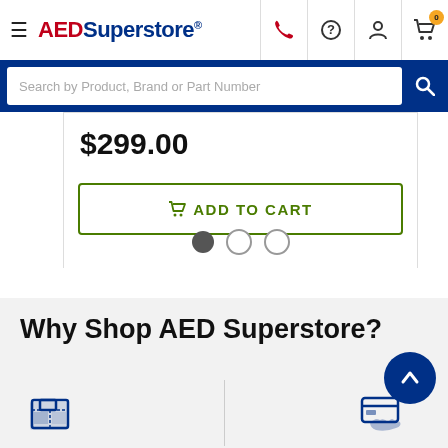AEDSuperstore
Search by Product, Brand or Part Number
$299.00
ADD TO CART
Why Shop AED Superstore?